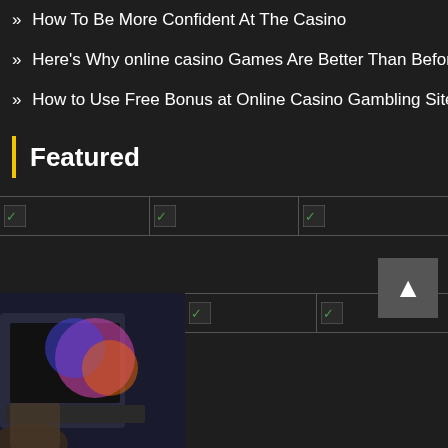» How To Be More Confident At The Casino
» Here's Why online casino Games Are Better Than Before
» How to Use Free Bonus at Online Casino Gambling Sites
Featured
[Figure (photo): Row of three broken image thumbnails in a dark background grid]
[Figure (photo): Photo of person using laptop with colorful screen; two broken image thumbnails beside it]